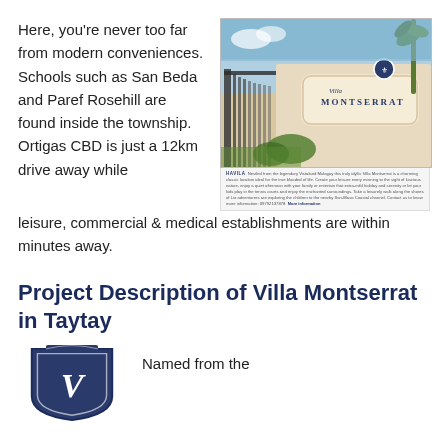Here, you're never too far from modern conveniences. Schools such as San Beda and Paref Rosehill are found inside the township. Ortigas CBD is just a 12km drive away while leisure, commercial & medical establishments are within minutes away.
[Figure (photo): Photo of Villa Montserrat entrance sign with gate and palm trees, with a Havila advertisement caption below.]
Project Description of Villa Montserrat in Taytay
[Figure (logo): Villa Montserrat logo shield with V monogram in dark navy blue]
Named from the